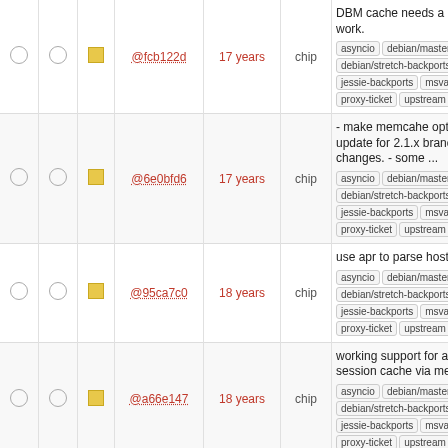|  |  |  | Hash | Age | Author | Description |
| --- | --- | --- | --- | --- | --- | --- |
|  |  |  | @fcb122d | 17 years | chip | DBM cache needs a little more work.
asyncio debian/master debian/stretch-backports jessie-backports msva proxy-ticket upstream |
|  |  |  | @6e0bfd6 | 17 years | chip | - make memcahe optional - update for 2.1.x branch changes. - some ...
asyncio debian/master debian/stretch-backports jessie-backports msva proxy-ticket upstream |
|  |  |  | @95ca7c0 | 18 years | chip | use apr to parse hostnames..
asyncio debian/master debian/stretch-backports jessie-backports msva proxy-ticket upstream |
|  |  |  | @a66e147 | 18 years | chip | working support for a ssl session cache via memcached.
asyncio debian/master debian/stretch-backports jessie-backports msva proxy-ticket upstream |
|  |  |  | @76bd3bf | 18 years | chip | add check for apr_memcache
asyncio debian/master debian/stretch-backports jessie-backports msva proxy-ticket upstream |
|  |  |  | @32f2e60 | 18 years | chip | fixes and stuff that i should of already committed.
asyncio debian/master debian/stretch-backports jessie-backports msva proxy-ticket upstream |